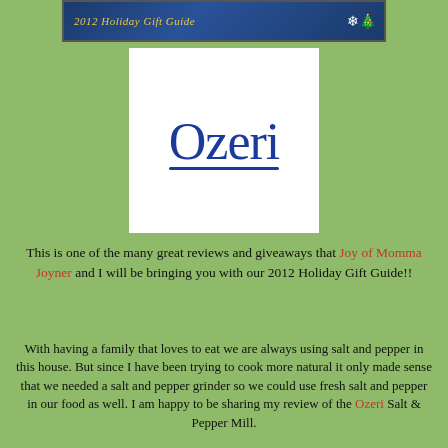[Figure (illustration): 2012 Holiday Gift Guide banner in dark blue with yellow text and decorative snowflake/ornament graphic on the right]
[Figure (logo): Ozeri brand logo in dark blue serif font on white background square]
This is one of the many great reviews and giveaways that Joy of Momma Joyner and I will be bringing you with our 2012 Holiday Gift Guide!!
With having a family that loves to eat we are always using salt and pepper in this house. But since I have been trying to cook more natural it only made sense that we needed a salt and pepper grinder so we could use fresh salt and pepper in our food as well. I am happy to be sharing my review of the Ozeri Salt & Pepper Mill.